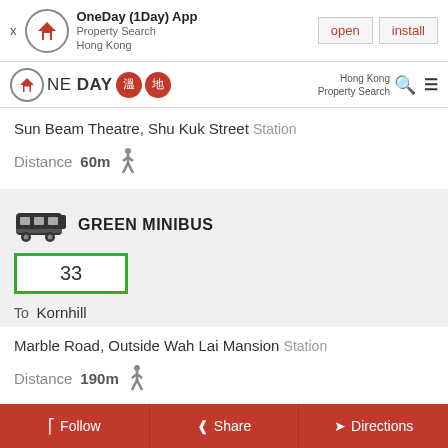[Figure (screenshot): App install banner for OneDay (1Day) App - Property Search Hong Kong, with open and install buttons]
[Figure (logo): OneDay brand navigation bar with logo, Chinese character badges, Hong Kong Property Search text, search and menu icons]
Sun Beam Theatre, Shu Kuk Street Station
Distance 60m
GREEN MINIBUS
33
To Kornhill
Marble Road, Outside Wah Lai Mansion Station
Distance 190m
Follow  Share  Directions